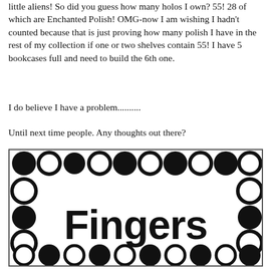little aliens! So did you guess how many holos I own? 55! 28 of which are Enchanted Polish! OMG-now I am wishing I hadn't counted because that is just proving how many polish I have in the rest of my collection if one or two shelves contain 55! I have 5 bookcases full and need to build the 6th one.
I do believe I have a problem..........
Until next time people. Any thoughts out there?
[Figure (logo): Black and white circular dots pattern border with bold text 'Fingers' in the center, arranged in a rectangular grid of circles alternating filled and outline.]